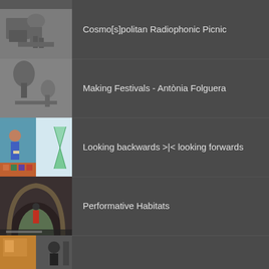Cosmo[s]politan Radiophonic Picnic
Making Festivals - Antònia Folguera
Looking backwards >|< looking forwards
Performative Habitats